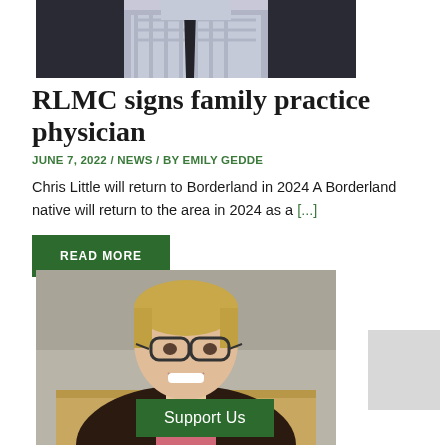[Figure (photo): Top portion of a man in a suit and tie, cropped at shoulders, partial face visible at top]
RLMC signs family practice physician
JUNE 7, 2022 / NEWS / BY EMILY GEDDE
Chris Little will return to Borderland in 2024 A Borderland native will return to the area in 2024 as a [...]
READ MORE
[Figure (photo): Woman with short blonde hair, glasses, smiling, wearing a dark blazer over pink shirt, professional headshot style]
Support Us